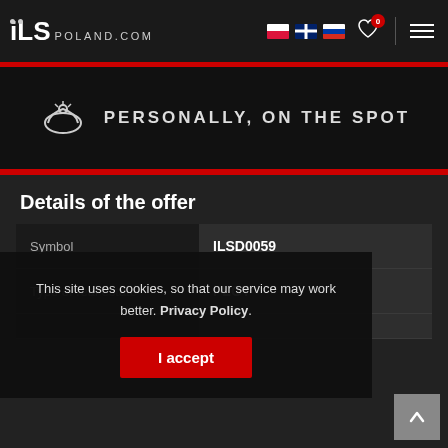ILS POLAND.COM
[Figure (logo): ILS Poland.com logo with flag icons and navigation elements including heart/wishlist icon with badge showing 0, and hamburger menu]
PERSONALLY, ON THE SPOT
Details of the offer
|  |  |
| --- | --- |
| Symbol | ILSD0059 |
| Type of real estate | PLOT |
This site uses cookies, so that our service may work better. Privacy Policy.
I accept